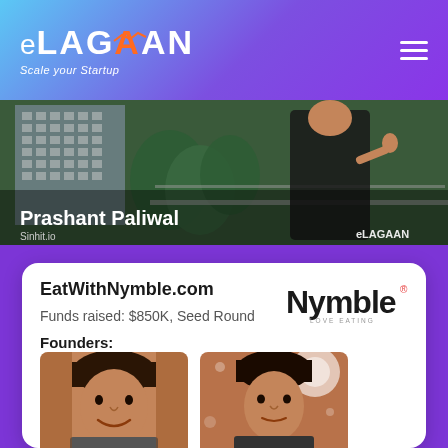eLAGAAN - Scale your Startup
[Figure (photo): Banner photo showing Prashant Paliwal with eLAGAAN branding, outdoor setting with building and person giving thumbs up]
EatWithNymble.com
Funds raised: $850K, Seed Round
Founders:
[Figure (logo): Nymble logo with 'Love Eating' tagline]
[Figure (photo): Founder 1 headshot - young Indian man smiling]
[Figure (photo): Founder 2 headshot - young Indian man with light in background]